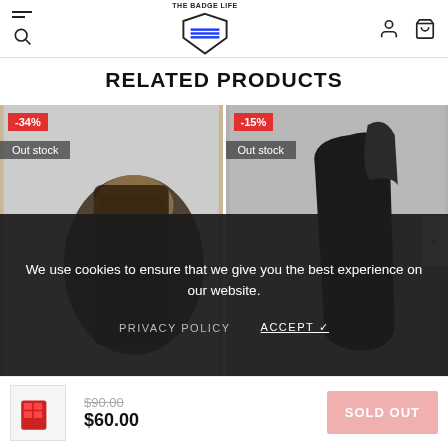THE BADGE LIFE — site header with hamburger menu, search, logo, account, and cart icons
RELATED PRODUCTS
[Figure (photo): Two product cards side by side: left card shows a tactical backpack with -34% discount badge and 'Out stock' label; right card shows a black sling bag with -15% discount badge and 'Out stock' label. Navigation arrow on right side.]
We use cookies to ensure that we give you the best experience on our website.
PRIVACY POLICY   ACCEPT ✓
$90.00  $60.00  SOLD OUT